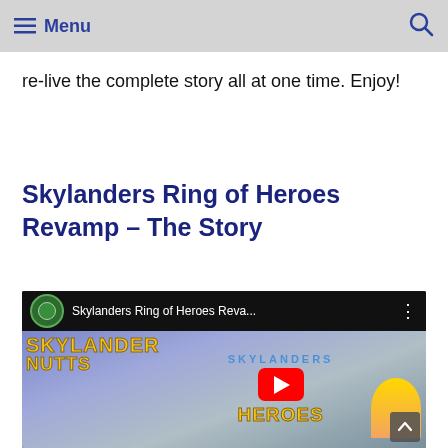Menu
re-live the complete story all at one time. Enjoy!
Skylanders Ring of Heroes Revamp – The Story
[Figure (screenshot): YouTube video thumbnail for 'Skylanders Ring of Heroes Reva...' with Skylanders Nuts channel logo, game title logo and YouTube play button overlay]